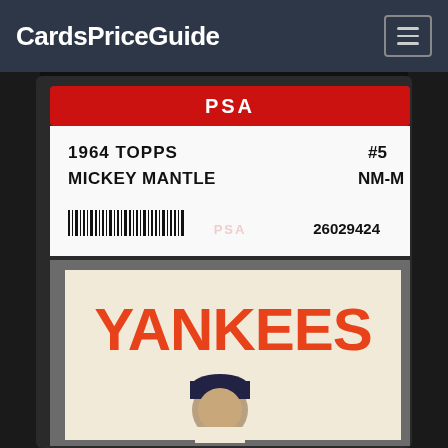CardsPriceGuide
[Figure (photo): Close-up photograph of a PSA-graded 1964 Topps Mickey Mantle baseball card #5, graded NM-M, certification number 2602942, encased in a plastic PSA slab holder. The card is visible below the PSA label showing 'YANKEES' in large orange letters with a partial image of Mickey Mantle in a Yankees uniform and cap.]